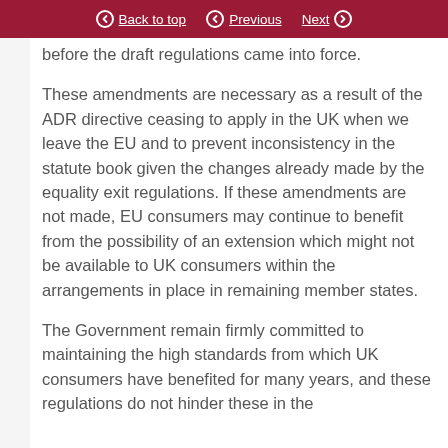Back to top | Previous | Next
before the draft regulations came into force.
These amendments are necessary as a result of the ADR directive ceasing to apply in the UK when we leave the EU and to prevent inconsistency in the statute book given the changes already made by the equality exit regulations. If these amendments are not made, EU consumers may continue to benefit from the possibility of an extension which might not be available to UK consumers within the arrangements in place in remaining member states.
The Government remain firmly committed to maintaining the high standards from which UK consumers have benefited for many years, and these regulations do not hinder these in the